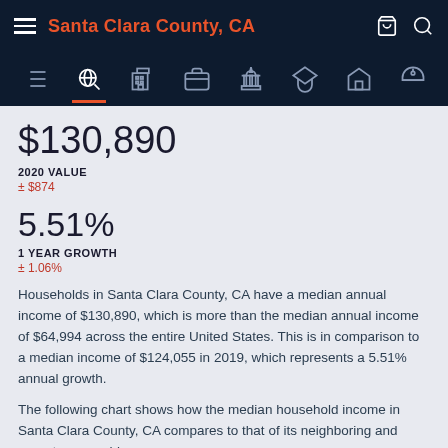Santa Clara County, CA
$130,890
2020 VALUE
± $874
5.51%
1 YEAR GROWTH
± 1.06%
Households in Santa Clara County, CA have a median annual income of $130,890, which is more than the median annual income of $64,994 across the entire United States. This is in comparison to a median income of $124,055 in 2019, which represents a 5.51% annual growth.
The following chart shows how the median household income in Santa Clara County, CA compares to that of its neighboring and parent geographies.